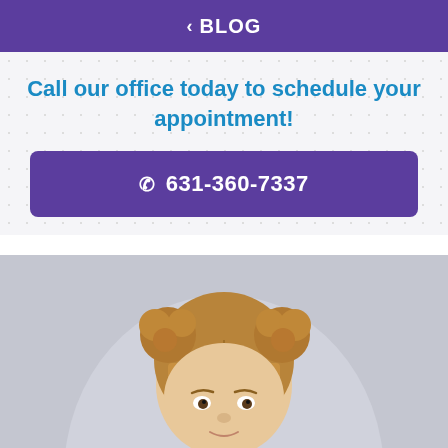< BLOG
Call our office today to schedule your appointment!
631-360-7337
[Figure (photo): Photo of a young girl with two bun hairstyles on top of her head, looking at the camera against a light grey background]